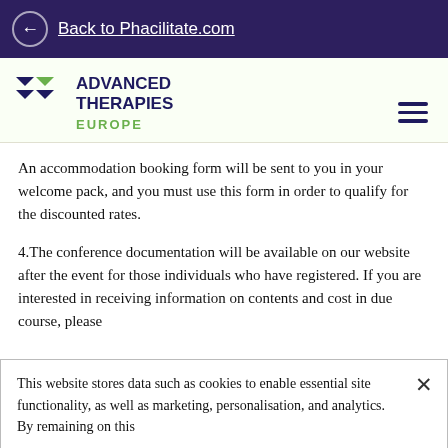← Back to Phacilitate.com
[Figure (logo): Advanced Therapies Europe logo with stylized X icon in dark blue and green, company name in dark blue bold capitals, EUROPE in green]
An accommodation booking form will be sent to you in your welcome pack, and you must use this form in order to qualify for the discounted rates.
4.The conference documentation will be available on our website after the event for those individuals who have registered. If you are interested in receiving information on contents and cost in due course, please
This website stores data such as cookies to enable essential site functionality, as well as marketing, personalisation, and analytics. By remaining on this